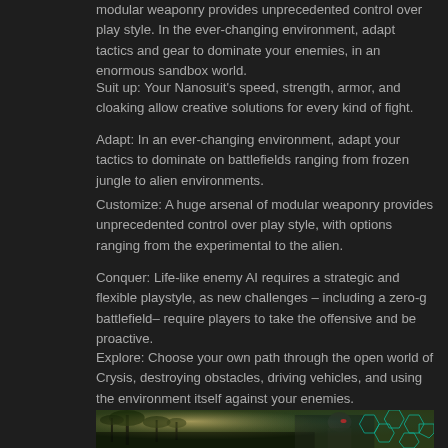modular weaponry provides unprecedented control over play style. In the ever-changing environment, adapt tactics and gear to dominate your enemies, in an enormous sandbox world.
Suit up: Your Nanosuit's speed, strength, armor, and cloaking allow creative solutions for every kind of fight.
Adapt: In an ever-changing environment, adapt your tactics to dominate on battlefields ranging from frozen jungle to alien environments.
Customize: A huge arsenal of modular weaponry provides unprecedented control over play style, with options ranging from the experimental to the alien.
Conquer: Life-like enemy AI requires a strategic and flexible playstyle, as new challenges – including a zero-g battlefield– require players to take the offensive and be proactive.
Explore: Choose your own path through the open world of Crysis, destroying obstacles, driving vehicles, and using the environment itself against your enemies.
[Figure (photo): Screenshot from Crysis game showing a soldier in a Nanosuit crouching in a tropical jungle environment with palm trees, bright sun, and hexagonal UI elements in cyan/teal on the right side.]